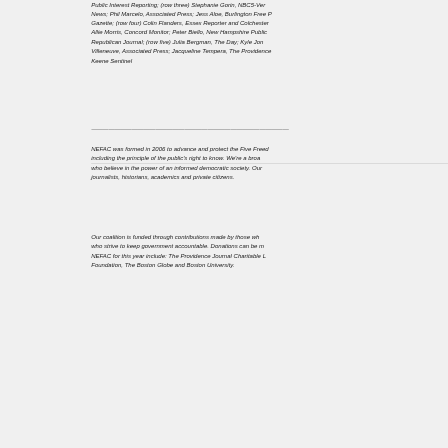Public Interest Reporting; (row three) Stephanie Gorin, NBC5-Vermont News; Phil Marcelo, Associated Press; Jess Aloe, Burlington Free Press/Gazette; (row four) Colin Flanders, Essex Reporter and Colchester Allie Morris, Concord Monitor; Peter Biello, New Hampshire Public Republican Journal; (row five) Julia Bergman, The Day; Kyle Jon Villeneuve, Associated Press; Jacqueline Tempera, The Providence Keene Sentinel
NEFAC was formed in 2006 to advance and protect the Five Freedoms, including the principle of the public's right to know. We're a broad coalition who believe in the power of an informed democratic society. Our members are journalists, historians, academics and private citizens.
Our coalition is funded through contributions made by those who strive to keep government accountable. Donations can be made to NEFAC for this year include: The Providence Journal Charitable Foundation, The Boston Globe and Boston University.